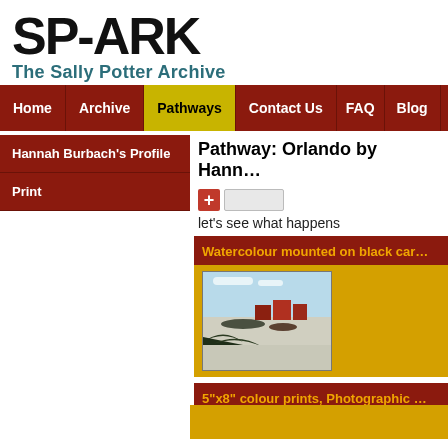SP-ARK
The Sally Potter Archive
Home | Archive | Pathways | Contact Us | FAQ | Blog
Hannah Burbach's Profile
Print
Pathway: Orlando by Hann...
let's see what happens
[Figure (photo): Watercolour mounted on black card — winter landscape watercolour showing boats on water with snowy foreground and red buildings in background]
Watercolour mounted on black car...
5"x8" colour prints, Photographic ...